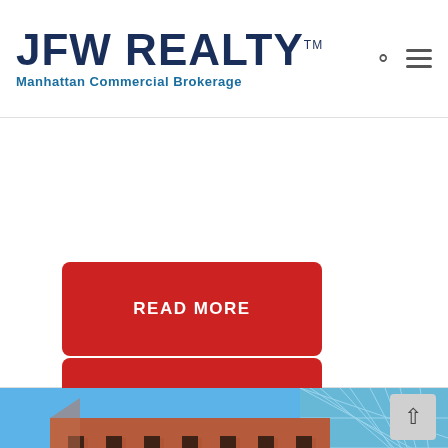JFW REALTY™ Manhattan Commercial Brokerage
READ MORE
[Figure (photo): Photograph of a tall red-brick commercial building in Manhattan with a modern glass building with triangular facade visible in the background, set against a blue sky.]